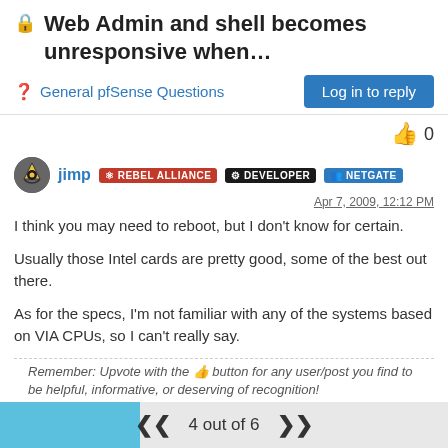🔒 Web Admin and shell becomes unresponsive when…
General pfSense Questions
Log in to reply
0
jimp  REBEL ALLIANCE  DEVELOPER  NETGATE
Apr 7, 2009, 12:12 PM
I think you may need to reboot, but I don't know for certain.
Usually those Intel cards are pretty good, some of the best out there.
As for the specs, I'm not familiar with any of the systems based on VIA CPUs, so I can't really say.
Remember: Upvote with the 👍 button for any user/post you find to be helpful, informative, or deserving of recognition!
Need help fast? Netgate Global Support!
4 out of 6